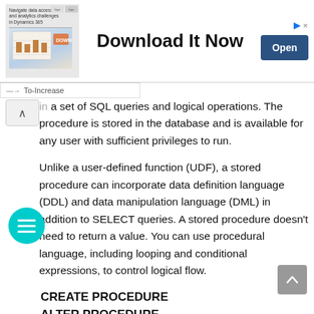[Figure (other): Advertisement banner: Download It Now with Open button and To-Increase logo]
...in a set of SQL queries and logical operations. The procedure is stored in the database and is available for any user with sufficient privileges to run.
Unlike a user-defined function (UDF), a stored procedure can incorporate data definition language (DDL) and data manipulation language (DML) in addition to SELECT queries. A stored procedure doesn't need to return a value. You can use procedural language, including looping and conditional expressions, to control logical flow.
CREATE PROCEDURE
ALTER PROCEDURE
DROP PROCEDURE